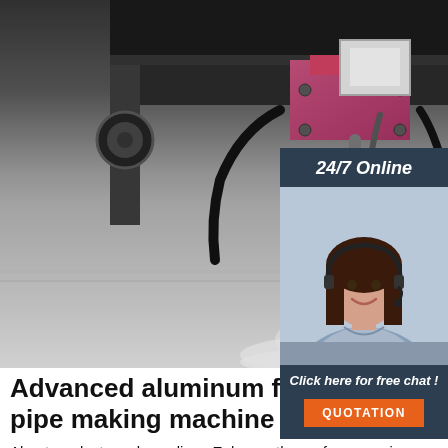[Figure (photo): Industrial pipe cutting or welding machine head close-up, showing mechanical components with hoses and a cutting nozzle directing a stream downward onto a metal surface, producing vapor/steam. Dark metallic machinery visible.]
[Figure (photo): 24/7 Online customer support widget: dark navy background with text '24/7 Online' in white italic, photo of a smiling woman with headset (customer service representative), text 'Click here for free chat!' and an orange QUOTATION button.]
Advanced aluminum flexible pipe making machine For .
About products and suppliers: Enhance the performance in your pipe production and manufacturing processes using the leading and cutting-edge. aluminum flexible duct pipe making machine at Alibaba.com. They come with enticing discounts and deals that make them extremely